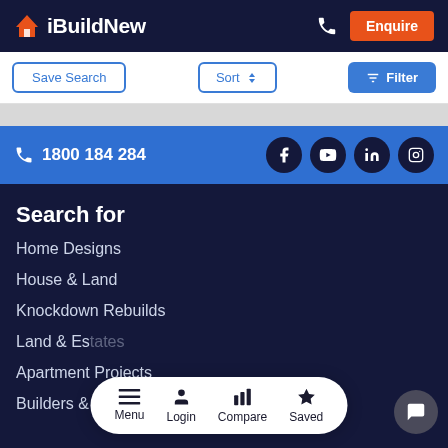iBuildNew — Enquire
Save Search | Sort | Filter
1800 184 284
Search for
Home Designs
House & Land
Knockdown Rebuilds
Land & Es...
Apartment Projects
Builders & Developers
Menu | Login | Compare | Saved